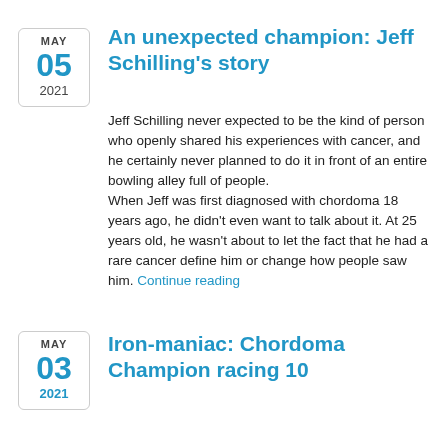An unexpected champion: Jeff Schilling’s story
Jeff Schilling never expected to be the kind of person who openly shared his experiences with cancer, and he certainly never planned to do it in front of an entire bowling alley full of people. When Jeff was first diagnosed with chordoma 18 years ago, he didn’t even want to talk about it. At 25 years old, he wasn't about to let the fact that he had a rare cancer define him or change how people saw him. Continue reading
Iron-maniac: Chordoma Champion racing 10